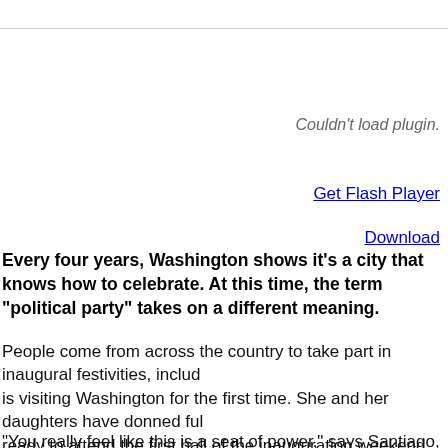[Figure (other): Flash plugin embed area showing 'Couldn't load plugin.' message with links to Get Flash Player and Download]
Couldn't load plugin.
Get Flash Player
Download
Every four years, Washington shows it's a city that knows how to celebrate. At this time, the term "political party" takes on a different meaning.
People come from across the country to take part in inaugural festivities, includ... is visiting Washington for the first time. She and her daughters have donned ful... ready to attend the first ball of the inauguration weekend.
"You really feel like this is a seat of power," says Santiago, who enjoyed sightse... "It's not just a seat of power for the United States, but it's a real global seat of pe...
But you don't have to be a power player to enjoy the city. Anyone can buy tick...